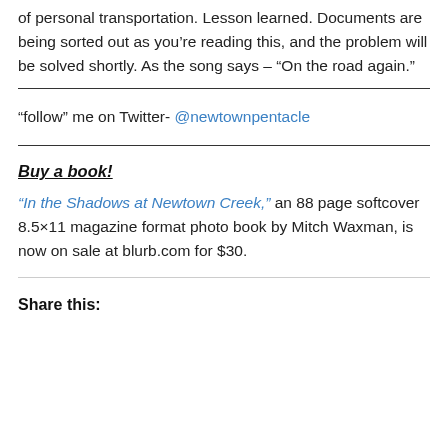of personal transportation. Lesson learned. Documents are being sorted out as you’re reading this, and the problem will be solved shortly. As the song says – “On the road again.”
“follow” me on Twitter- @newtownpentacle
Buy a book!
“In the Shadows at Newtown Creek,” an 88 page softcover 8.5×11 magazine format photo book by Mitch Waxman, is now on sale at blurb.com for $30.
Share this: